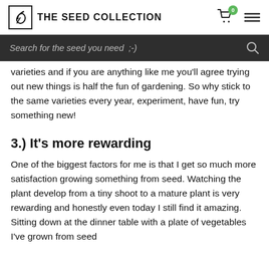THE SEED COLLECTION
Search for the seed you need ;-)
varieties and if you are anything like me you'll agree trying out new things is half the fun of gardening. So why stick to the same varieties every year, experiment, have fun, try something new!
3.) It's more rewarding
One of the biggest factors for me is that I get so much more satisfaction growing something from seed. Watching the plant develop from a tiny shoot to a mature plant is very rewarding and honestly even today I still find it amazing.  Sitting down at the dinner table with a plate of vegetables I've grown from seed